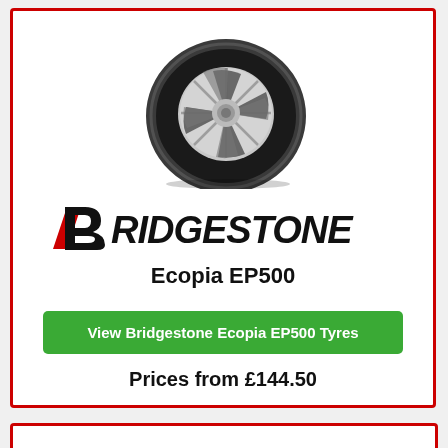[Figure (illustration): A Bridgestone Ecopia EP500 tyre shown at an angle, viewed from the front-right, with a silver alloy wheel visible through the tyre opening. The tyre has a white sidewall area and black tread.]
[Figure (logo): Bridgestone logo in bold black letters with a red diagonal slash through the letter B area, styled in italics.]
Ecopia EP500
View Bridgestone Ecopia EP500 Tyres
Prices from £144.50